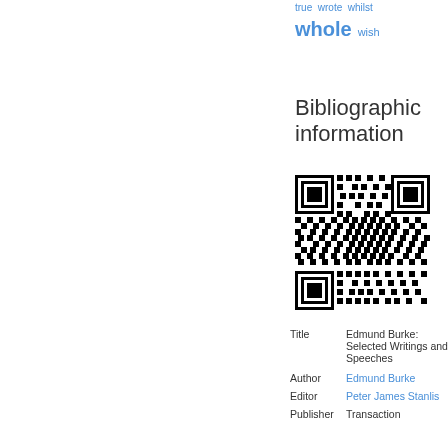true   wrote   whilst
whole   wish
Bibliographic information
[Figure (other): QR code for bibliographic information]
| Title | Edmund Burke: Selected Writings and Speeches |
| Author | Edmund Burke |
| Editor | Peter James Stanlis |
| Publisher | Transaction |